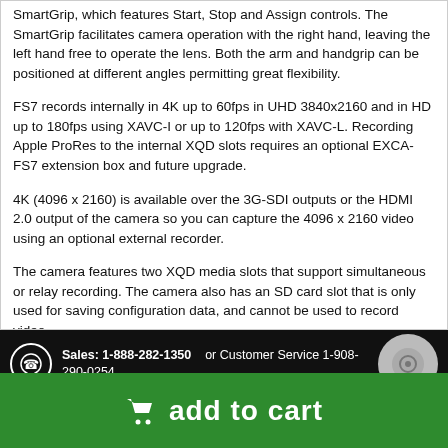SmartGrip, which features Start, Stop and Assign controls. The SmartGrip facilitates camera operation with the right hand, leaving the left hand free to operate the lens. Both the arm and handgrip can be positioned at different angles permitting great flexibility.
FS7 records internally in 4K up to 60fps in UHD 3840x2160 and in HD up to 180fps using XAVC-I or up to 120fps with XAVC-L. Recording Apple ProRes to the internal XQD slots requires an optional EXCA-FS7 extension box and future upgrade.
4K (4096 x 2160) is available over the 3G-SDI outputs or the HDMI 2.0 output of the camera so you can capture the 4096 x 2160 video using an optional external recorder.
The camera features two XQD media slots that support simultaneous or relay recording. The camera also has an SD card slot that is only used for saving configuration data, and cannot be used to record video.
Sales: 1-888-282-1350  or Customer Service 1-908-290-0254
add to cart